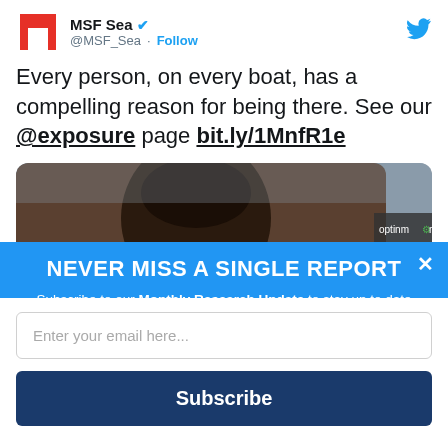[Figure (screenshot): Twitter/X profile header showing MSF Sea account with MSF logo, @MSF_Sea handle, Follow button, and Twitter bird icon]
Every person, on every boat, has a compelling reason for being there. See our @exposure page bit.ly/1MnfR1e
[Figure (photo): Partial close-up photo of a person's face/head (dark skin) on a grey background, with optinmonster watermark badge]
NEVER MISS A SINGLE REPORT
Subscribe to our Monthly Research Update to stay up to date with our latest news and updates on vital research for refugees worldwide.
Enter your email here...
Subscribe